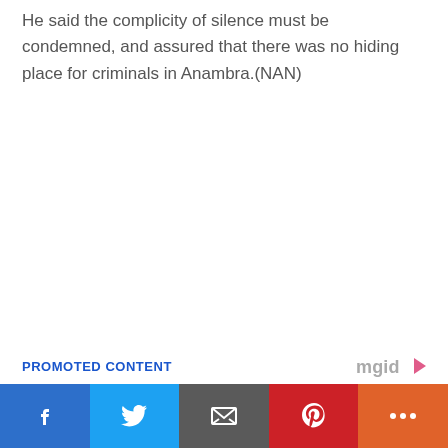He said the complicity of silence must be condemned, and assured that there was no hiding place for criminals in Anambra.(NAN)
PROMOTED CONTENT